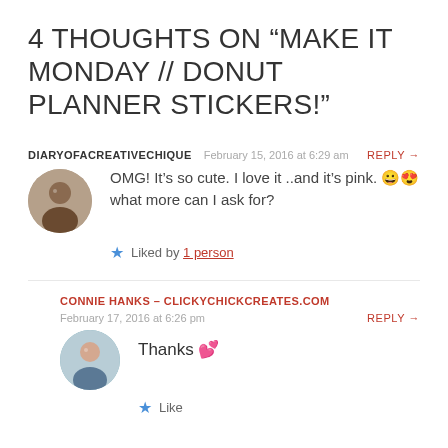4 THOUGHTS ON “MAKE IT MONDAY // DONUT PLANNER STICKERS!”
DIARYOFACREATIVECHIQUE   February 15, 2016 at 6:29 am   REPLY →
OMG! It’s so cute. I love it ..and it’s pink. 😀😍 what more can I ask for?
★ Liked by 1 person
CONNIE HANKS - CLICKYCHICKCREATES.COM
February 17, 2016 at 6:26 pm   REPLY →
Thanks 💕
★ Like